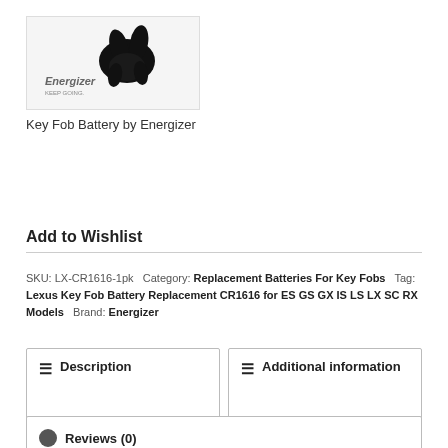[Figure (photo): Energizer branded product image showing a battery with the Energizer bunny silhouette and logo reading 'Energizer KEEP GOING']
Key Fob Battery by Energizer
Add to Wishlist
SKU: LX-CR1616-1pk  Category: Replacement Batteries For Key Fobs  Tag: Lexus Key Fob Battery Replacement CR1616 for ES GS GX IS LS LX SC RX Models  Brand: Energizer
Description
Additional information
Reviews (0)